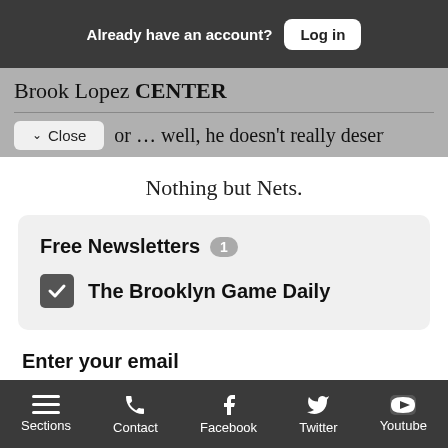Already have an account? Log in
Brook Lopez CENTER
or … well, he doesn't really deserve an F, because
Nothing but Nets.
Free Newsletters 1
The Brooklyn Game Daily
Enter your email
Sections  Contact  Facebook  Twitter  Youtube